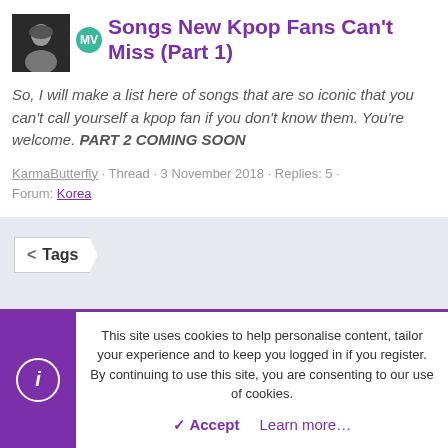Songs New Kpop Fans Can't Miss (Part 1)
So, I will make a list here of songs that are so iconic that you can't call yourself a kpop fan if you don't know them. You're welcome. PART 2 COMING SOON
KarmaButterfly · Thread · 3 November 2018 · Replies: 5 · Forum: Korea
< Tags
Served by: Proxy/SOF-S4-1/63->c0tb676c (c8ab7c86)
Terms and rules   Privacy policy   Help   Server Status   About Us
This site uses cookies to help personalise content, tailor your experience and to keep you logged in if you register. By continuing to use this site, you are consenting to our use of cookies.
Accept   Learn more…